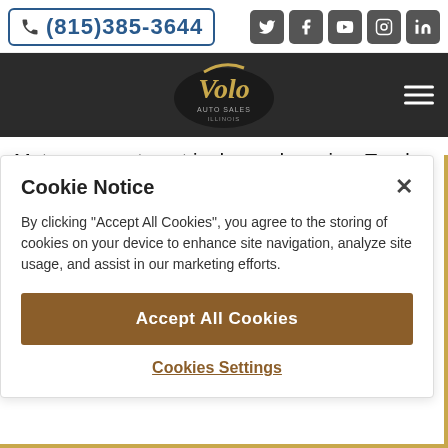(815)385-3644
[Figure (logo): Volo Auto Sales Illinois logo - gold script lettering on dark shield background]
Motor compartment is dressed up nice. Trunk is clean. Has custom enclosure. Full size muscle car with good looks!
Cookie Notice
By clicking "Accept All Cookies", you agree to the storing of cookies on your device to enhance site navigation, analyze site usage, and assist in our marketing efforts.
Accept All Cookies
Cookies Settings